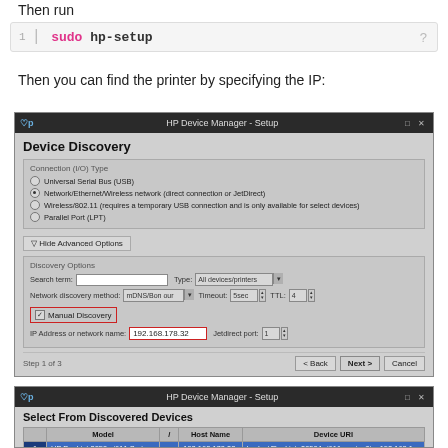Then run
[Figure (screenshot): Code block showing: sudo hp-setup with line number 1]
Then you can find the printer by specifying the IP:
[Figure (screenshot): HP Device Manager - Setup dialog showing Device Discovery with Connection (I/O) Type options, Discovery Options with Manual Discovery checkbox checked and IP Address 192.168.178.32 entered, Step 1 of 3 with Back, Next, Cancel buttons]
[Figure (screenshot): HP Device Manager - Setup dialog showing Select From Discovered Devices with a table listing Model, Host Name, Device URI columns. Row 1: HP Deskjet 3050a j611 Series, 192.168.178.32, hp:/net/Deskjet_3050A_j611_series?ip=192.168.1...]